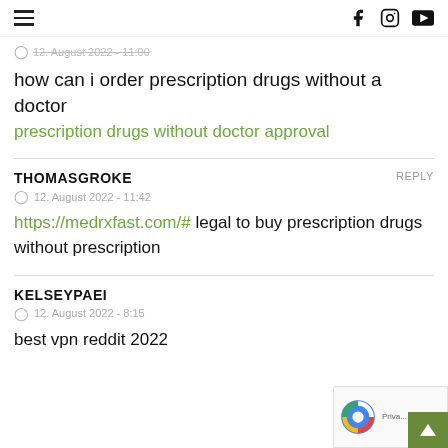≡  [social icons: Facebook, Instagram, YouTube]
12. August 2022 - 11:00 (partial, cut off)
how can i order prescription drugs without a doctor
prescription drugs without doctor approval
THOMASGROKE  REPLY
12. August 2022 - 11:42
https://medrxfast.com/# legal to buy prescription drugs without prescription
KELSEYPAEI
12. August 2022 - 8:15
best vpn reddit 2022